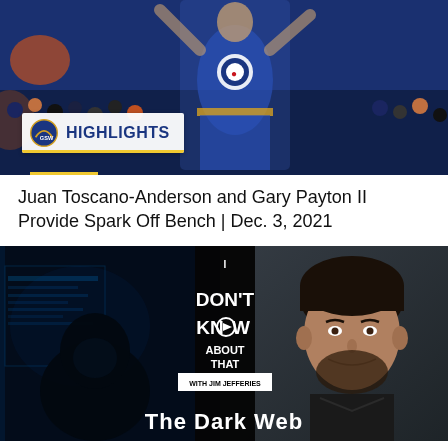[Figure (screenshot): Golden State Warriors NBA highlights thumbnail showing a Warriors player in blue jersey celebrating, with crowd in background and a 'HIGHLIGHTS' banner in lower left featuring the Warriors logo]
Juan Toscano-Anderson and Gary Payton II Provide Spark Off Bench | Dec. 3, 2021
[Figure (screenshot): YouTube thumbnail for 'I Don't Know About That with Jim Jefferies' showing a dark hacker silhouette on left side with blue computer screen glow, the show logo in center, and Jim Jefferies (man with beard) on right side. Text at bottom reads 'The Dark Web']